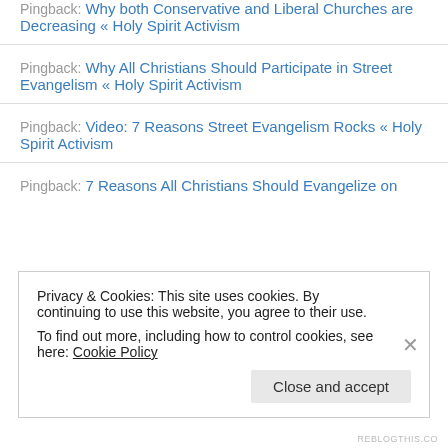Pingback: Why both Conservative and Liberal Churches are Decreasing « Holy Spirit Activism
Pingback: Why All Christians Should Participate in Street Evangelism « Holy Spirit Activism
Pingback: Video: 7 Reasons Street Evangelism Rocks « Holy Spirit Activism
Pingback: 7 Reasons All Christians Should Evangelize on
Privacy & Cookies: This site uses cookies. By continuing to use this website, you agree to their use. To find out more, including how to control cookies, see here: Cookie Policy
Close and accept